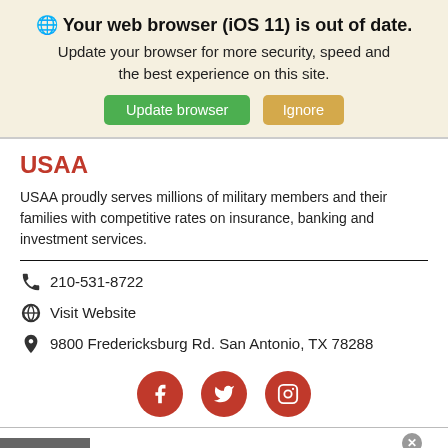🌐 Your web browser (iOS 11) is out of date. Update your browser for more security, speed and the best experience on this site.
Update browser | Ignore
USAA
USAA proudly serves millions of military members and their families with competitive rates on insurance, banking and investment services.
210-531-8722
Visit Website
9800 Fredericksburg Rd. San Antonio, TX 78288
[Figure (infographic): Social media icons row: Facebook, Twitter, Instagram — red circles with white icons]
[Figure (infographic): Advertisement banner: Frontgate SALES — 20% off sitewide plus free shipping from August 19-22, frontgate.com, with outdoor furniture image and navigation arrow]
Frontgate SALES
20% off sitewide plus free shipping from August 19-22
frontgate.com